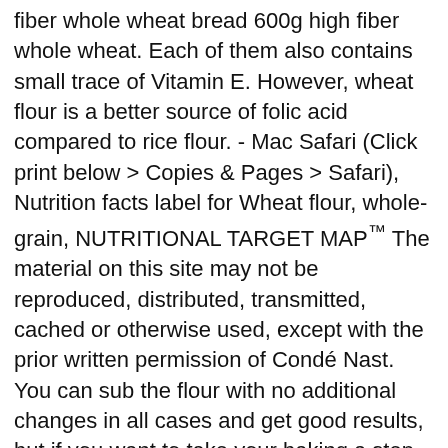fiber whole wheat bread 600g high fiber whole wheat. Each of them also contains small trace of Vitamin E. However, wheat flour is a better source of folic acid compared to rice flour. - Mac Safari (Click print below > Copies & Pages > Safari), Nutrition facts label for Wheat flour, whole-grain, NUTRITIONAL TARGET MAP™ The material on this site may not be reproduced, distributed, transmitted, cached or otherwise used, except with the prior written permission of Condé Nast. You can sub the flour with no additional changes in all cases and get good results, but if you want to take your baking a step further, we have a few tips to maximize success: For biscuits with a softer, more tender texture, increase the liquid called for in the recipe by 25%. Comprehensive nutrition resource for Don Pancho Wheat Flour Tortillas. This is because the gluten in wheat flour helps dough stretch and traps more air, which helps baked goods rise. Buckwheat, dark re four and light rye flour are tied at roughly fifty calories per eighth of a cup. Raw Pine Nuts by Tablespoon. Calories In Deep Dark Chocolate